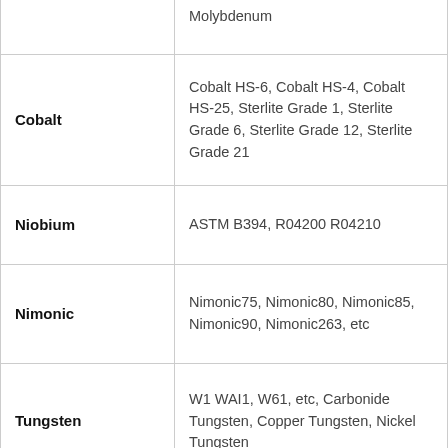| Material | Grades/Specifications |
| --- | --- |
| Molybdenum | Molybdenum |
| Cobalt | Cobalt HS-6, Cobalt HS-4, Cobalt HS-25, Sterlite Grade 1, Sterlite Grade 6, Sterlite Grade 12, Sterlite Grade 21 |
| Niobium | ASTM B394, R04200 R04210 |
| Nimonic | Nimonic75, Nimonic80, Nimonic85, Nimonic90, Nimonic263, etc |
| Tungsten | W1 WAI1, W61, etc, Carbonide Tungsten, Copper Tungsten, Nickel Tungsten |
| Nichrome | Nichrome90, Nichrome80, Nichrome80A, Nichrome RW80, Nichrome75, etc |